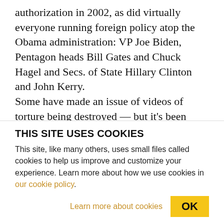authorization in 2002, as did virtually everyone running foreign policy atop the Obama administration: VP Joe Biden, Pentagon heads Bill Gates and Chuck Hagel and Secs. of State Hillary Clinton and John Kerry. Some have made an issue of videos of torture being destroyed — but it's been widely assumed that they were destroyed simply because of the potentially graphic nature of the abuse. But there's another distinct possibility: They were destroyed because of the questions they document being asked. Do the
THIS SITE USES COOKIES
This site, like many others, uses small files called cookies to help us improve and customize your experience. Learn more about how we use cookies in our cookie policy.
Learn more about cookies   OK